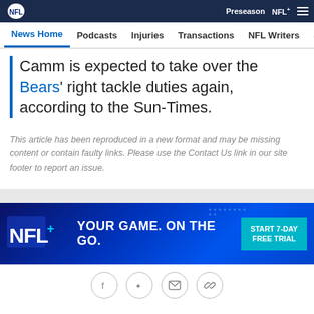NFL navigation bar with logo, Preseason, NFL+, menu
News Home | Podcasts | Injuries | Transactions | NFL Writers | Se...
Camm is expected to take over the Bears' right tackle duties again, according to the Sun-Times.
This article has been reproduced in a new format and may be missing content or contain faulty links. Please use the Contact Us link in our site footer to report an issue.
[Figure (infographic): NFL+ advertisement banner: blue background with NFL+ logo on left, text 'YOUR GAME. ON THE GO.' in white bold uppercase, and a cyan 'START 7-DAY FREE TRIAL' button on the right.]
Social share icons: Facebook, Twitter, Email, Link